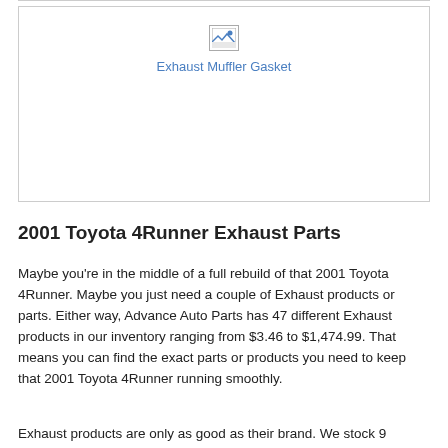[Figure (photo): Broken image placeholder for Exhaust Muffler Gasket product photo]
Exhaust Muffler Gasket
2001 Toyota 4Runner Exhaust Parts
Maybe you're in the middle of a full rebuild of that 2001 Toyota 4Runner. Maybe you just need a couple of Exhaust products or parts. Either way, Advance Auto Parts has 47 different Exhaust products in our inventory ranging from $3.46 to $1,474.99. That means you can find the exact parts or products you need to keep that 2001 Toyota 4Runner running smoothly.
Exhaust products are only as good as their brand. We stock 9